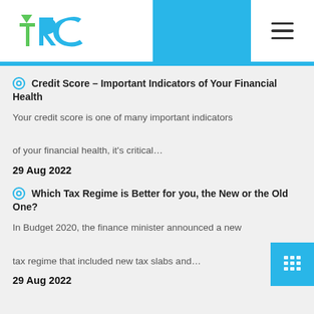[Figure (logo): TRC logo with green triangular arrow and blue letters, on white background with blue banner]
Credit Score – Important Indicators of Your Financial Health
Your credit score is one of many important indicators of your financial health, it's critical…
29 Aug 2022
Which Tax Regime is Better for you, the New or the Old One?
In Budget 2020, the finance minister announced a new tax regime that included new tax slabs and…
29 Aug 2022